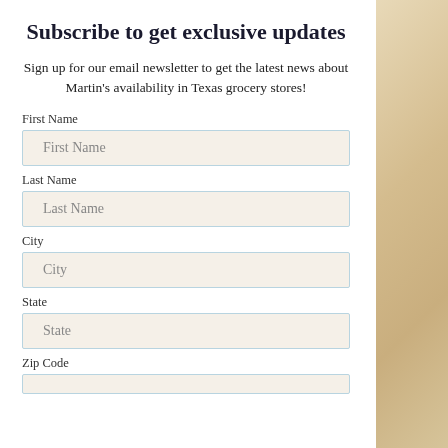Subscribe to get exclusive updates
Sign up for our email newsletter to get the latest news about Martin's availability in Texas grocery stores!
First Name
First Name
Last Name
Last Name
City
City
State
State
Zip Code